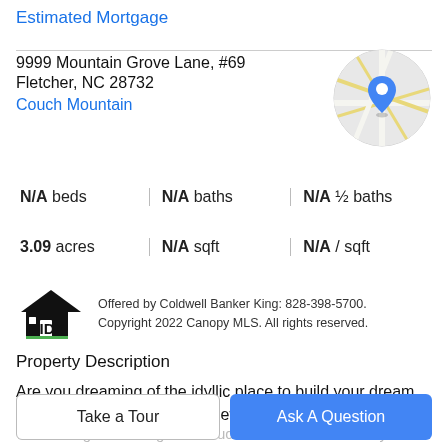Estimated Mortgage
9999 Mountain Grove Lane, #69
Fletcher, NC 28732
Couch Mountain
[Figure (map): Circular map thumbnail showing street map with a blue location pin marker in the center]
N/A beds | N/A baths | N/A ½ baths
3.09 acres | N/A sqft | N/A / sqft
[Figure (logo): IDX logo — house icon with IDX text]
Offered by Coldwell Banker King: 828-398-5700. Copyright 2022 Canopy MLS. All rights reserved.
Property Description
Are you dreaming of the idyllic place to build your dream home with iconic mountain views? This is THE premier
west facing lot in the gated Couch Mountain Community…
Take a Tour
Ask A Question